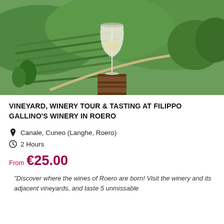[Figure (photo): Aerial view of vineyard terraces with green hills in the background. A wine glass filled with white wine sits on top of a wooden barrel in the foreground.]
VINEYARD, WINERY TOUR & TASTING AT FILIPPO GALLINO'S WINERY IN ROERO
Canale, Cuneo (Langhe, Roero)
2 Hours
From €25.00
"Discover where the wines of Roero are born! Visit the winery and its adjacent vineyards, and taste 5 unmissable